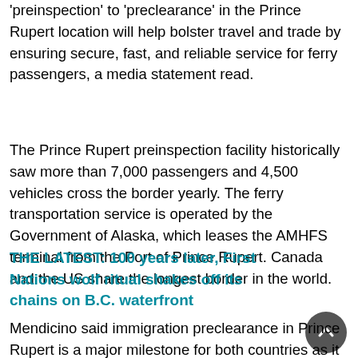'preinspection' to 'preclearance' in the Prince Rupert location will help bolster travel and trade by ensuring secure, fast, and reliable service for ferry passengers, a media statement read.
The Prince Rupert preinspection facility historically saw more than 7,000 passengers and 4,500 vehicles cross the border yearly. The ferry transportation service is operated by the Government of Alaska, which leases the AMHFS terminal from the Port of Prince Rupert. Canada and the US share the longest border in the world.
THE LATEST: 100 years later, First Nations wolf ritual shakes off its chains on B.C. waterfront
Mendicino said immigration preclearance in Prince Rupert is a major milestone for both countries as it helps travel and